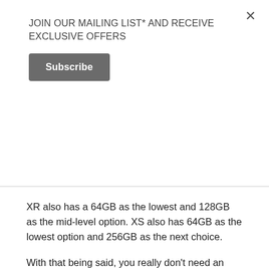JOIN OUR MAILING LIST* AND RECEIVE EXCLUSIVE OFFERS
Subscribe
XR also has a 64GB as the lowest and 128GB as the mid-level option. XS also has 64GB as the lowest option and 256GB as the next choice.
With that being said, you really don't need an expansion by micro SD, especially with half a terabyte of storage for iPhone XS.
Camera
There is also a big difference with the cameras on both smartphones. It's because XR has a single camera while XS boasts dual rear cameras. But both primary lenses of the two